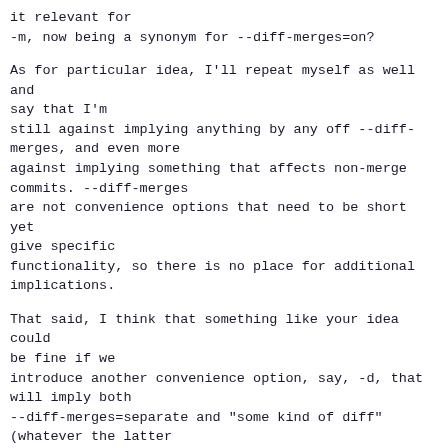it relevant for
-m, now being a synonym for --diff-merges=on?
As for particular idea, I'll repeat myself as well and say that I'm
still against implying anything by any off --diff-merges, and even more
against implying something that affects non-merge commits. --diff-merges
are not convenience options that need to be short yet give specific
functionality, so there is no place for additional implications.
That said, I think that something like your idea could be fine if we
introduce another convenience option, say, -d, that will imply both
--diff-merges=separate and "some kind of diff" (whatever the latter
actually means, I'm not sure yet.) But then again, why don't just reuse
-m that, as we've decided before, is not that useful in its current
state anyway?
I must admit that I don't entirely understand your idea above yet. Maybe
you could provide a draft of manual entry for proposed behavior of